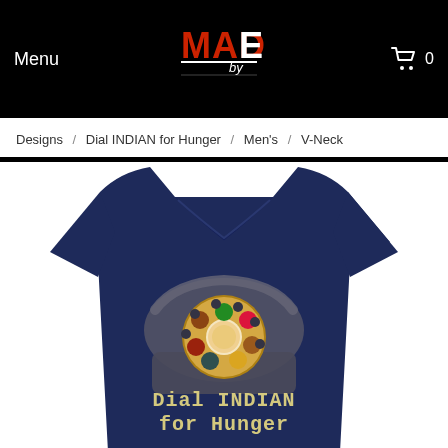Menu   MADE by   0
Designs  /  Dial INDIAN for Hunger  /  Men's  /  V-Neck
[Figure (photo): Navy blue men's v-neck t-shirt with a graphic design showing a vintage rotary telephone with an Indian thali food plate as the dial, and the text 'Dial INDIAN for Hunger' printed on the shirt.]